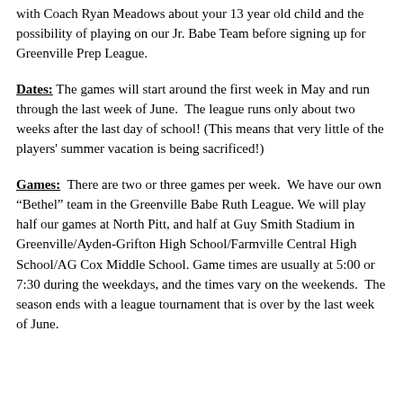with Coach Ryan Meadows about your 13 year old child and the possibility of playing on our Jr. Babe Team before signing up for Greenville Prep League.
Dates: The games will start around the first week in May and run through the last week of June. The league runs only about two weeks after the last day of school! (This means that very little of the players' summer vacation is being sacrificed!)
Games: There are two or three games per week. We have our own "Bethel" team in the Greenville Babe Ruth League. We will play half our games at North Pitt, and half at Guy Smith Stadium in Greenville/Ayden-Grifton High School/Farmville Central High School/AG Cox Middle School. Game times are usually at 5:00 or 7:30 during the weekdays, and the times vary on the weekends. The season ends with a league tournament that is over by the last week of June.